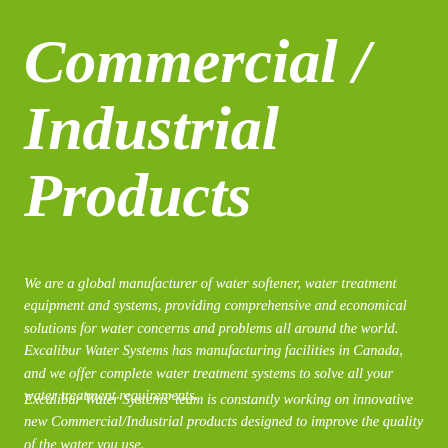Commercial / Industrial Products
We are a global manufacturer of water softener, water treatment equipment and systems, providing comprehensive and economical solutions for water concerns and problems all around the world. Excalibur Water Systems has manufacturing facilities in Canada, and we offer complete water treatment systems to solve all your water treatment requirements.
Excalibur Water Systems' team is constantly working on innovative new Commercial/Industrial products designed to improve the quality of the water you use.